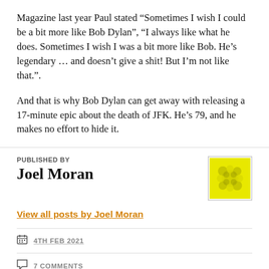Magazine last year Paul stated “Sometimes I wish I could be a bit more like Bob Dylan”, “I always like what he does. Sometimes I wish I was a bit more like Bob. He’s legendary … and doesn’t give a shit! But I’m not like that.”.
And that is why Bob Dylan can get away with releasing a 17-minute epic about the death of JFK. He’s 79, and he makes no effort to hide it.
PUBLISHED BY
Joel Moran
View all posts by Joel Moran
4TH FEB 2021
7 COMMENTS